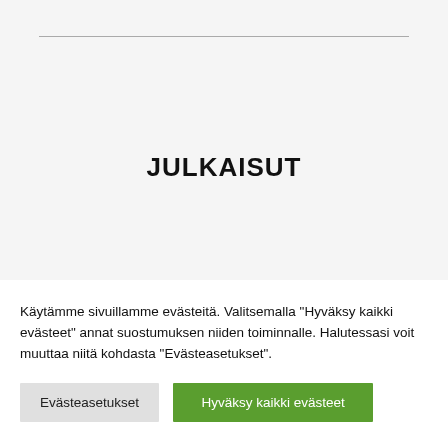JULKAISUT
Käytämme sivuillamme evästeitä. Valitsemalla "Hyväksy kaikki evästeet" annat suostumuksen niiden toiminnalle. Halutessasi voit muuttaa niitä kohdasta "Evästeasetukset".
Evästeasetukset
Hyväksy kaikki evästeet